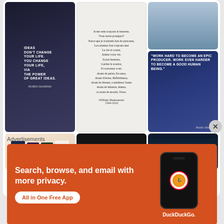[Figure (screenshot): Pinterest widget showing a grid of pins: motivational quotes by Robin Sharma and William Shakespeare (in French), book covers, and nature photos. Includes a 'Follow On Pinterest' button.]
Advertisements
[Figure (screenshot): DuckDuckGo advertisement banner with orange background. Text: 'Search, browse, and email with more privacy. All in One Free App'. Shows a phone with DuckDuckGo logo and the text 'DuckDuckGo.' below.]